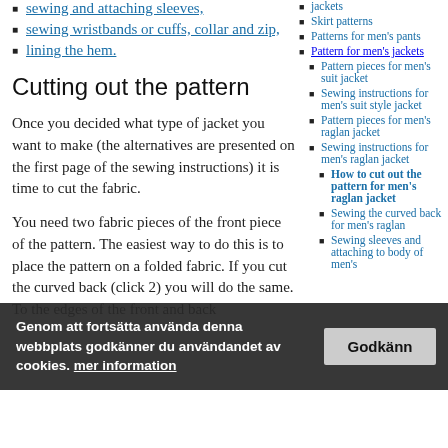sewing and attaching sleeves,
sewing wristbands or cuffs, collar and zip,
lining the hem.
jackets
Skirt patterns
Patterns for men's pants
Pattern for men's jackets
Pattern pieces for men's suit jacket
Sewing instructions for men's suit style jacket
Pattern pieces for men's raglan jacket
Sewing instructions for men's raglan jacket
How to cut out the pattern for men's raglan jacket
Sewing the curved back for men's raglan
Sewing sleeves and attaching to body of men's
Cutting out the pattern
Once you decided what type of jacket you want to make (the alternatives are presented on the first page of the sewing instructions) it is time to cut the fabric.
You need two fabric pieces of the front piece of the pattern. The easiest way to do this is to place the pattern on a folded fabric. If you cut the curved back (click 2) you will do the same. To the edges of the front and back
Genom att fortsätta använda denna webbplats godkänner du användandet av cookies. mer information
Godkänn